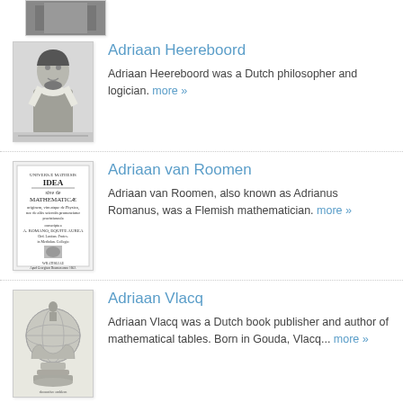[Figure (photo): Partial image at top of page, cropped]
[Figure (illustration): Portrait of Adriaan Heereboord, Dutch philosopher]
Adriaan Heereboord
Adriaan Heereboord was a Dutch philosopher and logician. more »
[Figure (illustration): Title page of Idea Mathematica by A. Romanus]
Adriaan van Roomen
Adriaan van Roomen, also known as Adrianus Romanus, was a Flemish mathematician. more »
[Figure (illustration): Decorative emblem/seal illustration for Adriaan Vlacq]
Adriaan Vlacq
Adriaan Vlacq was a Dutch book publisher and author of mathematical tables. Born in Gouda, Vlacq... more »
[Figure (photo): Portrait placeholder for Adrian Ioana]
Adrian Ioana